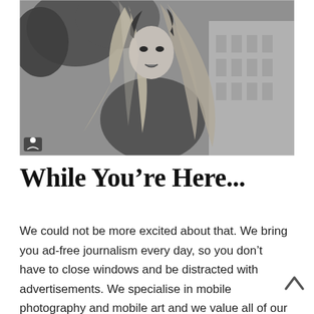[Figure (photo): Black and white photo of a woman with long flowing hair, wearing a coat, outdoors with trees and a building in the background.]
While You’re Here...
We could not be more excited about that. We bring you ad-free journalism every day, so you don’t have to close windows and be distracted with advertisements. We specialise in mobile photography and mobile art and we value all of our readers, writers, contributors and viewers but we do have costs and we do need to ask for your help. We at TheAppWhisperer spend many hours each day, each